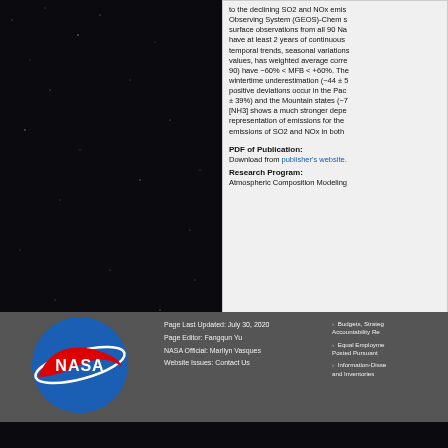to the declining SO2 and NOx emissions. Observing System (GEOS)-Chem surface observations from all 90 Na have at least 2 years of continuous temporal trends, seasonal variations values, has weighted average corre 90) have −60% < MFB < +60%. The wintertime underestimation (−44 ± 5 positive deviations occur in the Pac ± 39%) and the Mountain states (−7 [NH3] shows a much stronger depe representation of emissions for the emissions of SO2 and NOx in both
PDF of Publication:
Download from publisher's website.
Research Program:
Atmospheric Composition Modeling
[Figure (logo): NASA meatball logo - blue circle with white NASA lettering, red swoosh, and white orbital ring]
Page Last Updated: July 30, 2020
Page Editor: Fangqun Yu
NASA Official: Marilyn Vasques
Website Issues: Contact Us
Budgets, Strategies, and Accountability Re
Equal Employment Posted Pursuant
Information-Disse and Inventories